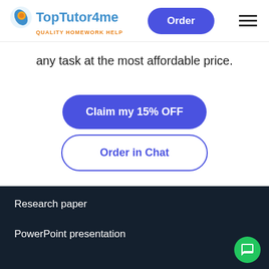TopTutor4me — QUALITY HOMEWORK HELP | Order | Menu
any task at the most affordable price.
Claim my 15% OFF
Order in Chat
Research paper
PowerPoint presentation